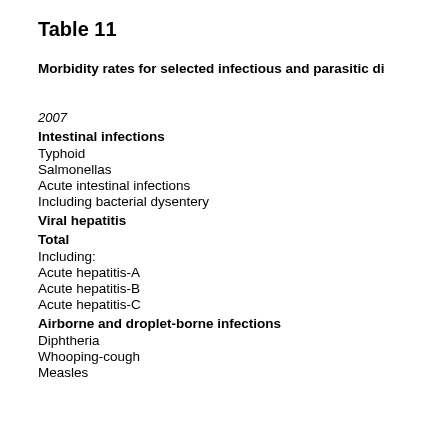Table 11
Morbidity rates for selected infectious and parasitic di
2007
Intestinal infections
Typhoid
Salmonellas
Acute intestinal infections
Including bacterial dysentery
Viral hepatitis
Total
Including:
Acute hepatitis-A
Acute hepatitis-B
Acute hepatitis-C
Airborne and droplet-borne infections
Diphtheria
Whooping-cough
Measles